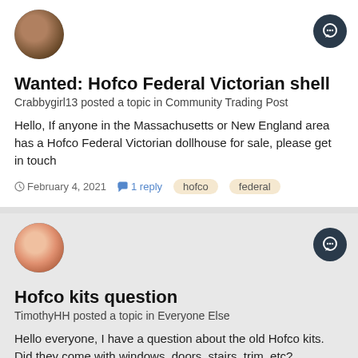[Figure (photo): Round avatar of a person (grayscale/sepia portrait), top-left of first post]
[Figure (illustration): Dark circular chat/comment icon button, top-right of first post]
Wanted: Hofco Federal Victorian shell
Crabbygirl13 posted a topic in Community Trading Post
Hello, If anyone in the Massachusetts or New England area has a Hofco Federal Victorian dollhouse for sale, please get in touch
February 4, 2021   1 reply   hofco   federal
[Figure (photo): Round avatar of a child/young person with dark hair, top-left of second post]
[Figure (illustration): Dark circular chat/comment icon button, top-right of second post]
Hofco kits question
TimothyHH posted a topic in Everyone Else
Hello everyone, I have a question about the old Hofco kits. Did they come with windows, doors, stairs, trim, etc?
May 1, 2019   14 replies   hofco